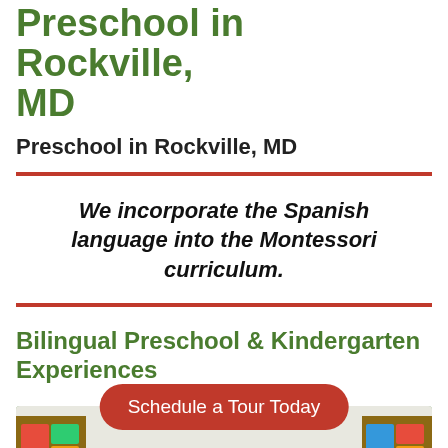Preschool in Rockville, MD
Preschool in Rockville, MD
We incorporate the Spanish language into the Montessori curriculum.
Bilingual Preschool & Kindergarten Experiences
[Figure (photo): Children in a classroom raising their hands, with a red rounded-rectangle button overlay reading 'Schedule a Tour Today']